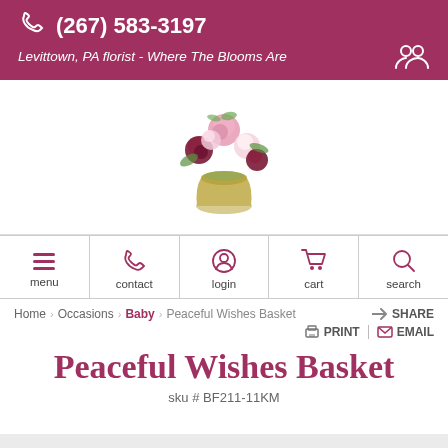(267) 583-3197
Levittown, PA florist - Where The Blooms Are
[Figure (illustration): Floral arrangement in a golden vase with pink, white, and dark red roses with green leaves — florist logo]
menu  contact  login  cart  search
Home  Occasions  Baby  Peaceful Wishes Basket  SHARE
PRINT  EMAIL
Peaceful Wishes Basket
sku # BF211-11KM